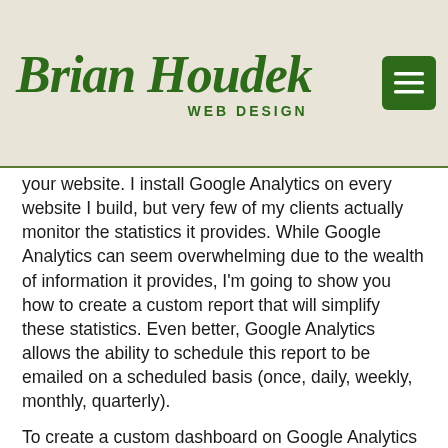Brian Houdek WEB DESIGN
your website. I install Google Analytics on every website I build, but very few of my clients actually monitor the statistics it provides. While Google Analytics can seem overwhelming due to the wealth of information it provides, I'm going to show you how to create a custom report that will simplify these statistics. Even better, Google Analytics allows the ability to schedule this report to be emailed on a scheduled basis (once, daily, weekly, monthly, quarterly).
To create a custom dashboard on Google Analytics first pull up your websites Google Analytics page and click on 'Customizations' beneath 'Home', then select 'Dashboard'. When you click the Create button you will be given the option to create a blank dashboard or use their starter dashboard, which has some of the most common widgets all ready to go. You can add up to 12 widgets. How you choose to set up your dashboard is entirely up to you. Widgets pull information stored in Google Analytics and display that information as a number, graph, map, table